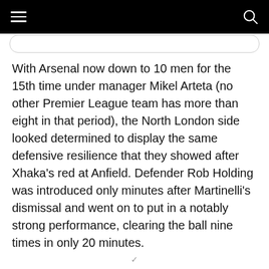With Arsenal now down to 10 men for the 15th time under manager Mikel Arteta (no other Premier League team has more than eight in that period), the North London side looked determined to display the same defensive resilience that they showed after Xhaka's red at Anfield. Defender Rob Holding was introduced only minutes after Martinelli's dismissal and went on to put in a notably strong performance, clearing the ball nine times in only 20 minutes.